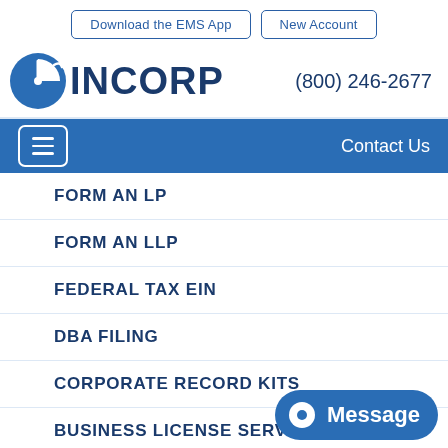Download the EMS App   New Account
[Figure (logo): INCORP logo with blue clock/pie icon and text INCORP]
(800) 246-2677
Contact Us
FORM AN LP
FORM AN LLP
FEDERAL TAX EIN
DBA FILING
CORPORATE RECORD KITS
BUSINESS LICENSE SERV...
Message